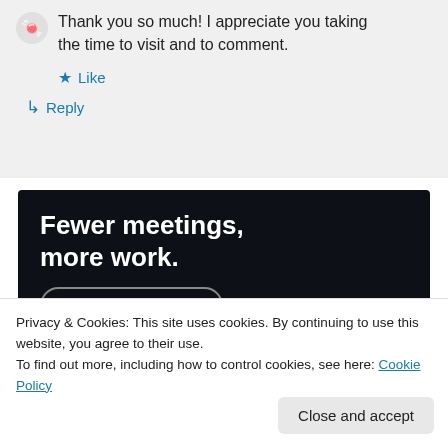Thank you so much! I appreciate you taking the time to visit and to comment.
★ Like
↳ Reply
[Figure (infographic): Dark background advertisement banner with bold white text reading 'Fewer meetings, more work.' and a 'Get started for free' button with rounded border.]
Privacy & Cookies: This site uses cookies. By continuing to use this website, you agree to their use.
To find out more, including how to control cookies, see here: Cookie Policy
Close and accept